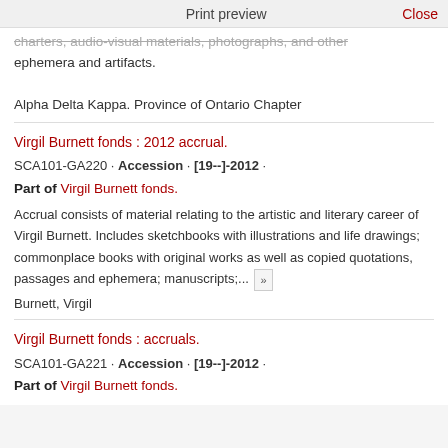Print preview    Close
charters, audio-visual materials, photographs, and other ephemera and artifacts.
Alpha Delta Kappa. Province of Ontario Chapter
Virgil Burnett fonds : 2012 accrual.
SCA101-GA220 · Accession · [19--]-2012 ·
Part of Virgil Burnett fonds.
Accrual consists of material relating to the artistic and literary career of Virgil Burnett. Includes sketchbooks with illustrations and life drawings; commonplace books with original works as well as copied quotations, passages and ephemera; manuscripts;...
Burnett, Virgil
Virgil Burnett fonds : accruals.
SCA101-GA221 · Accession · [19--]-2012 ·
Part of Virgil Burnett fonds.